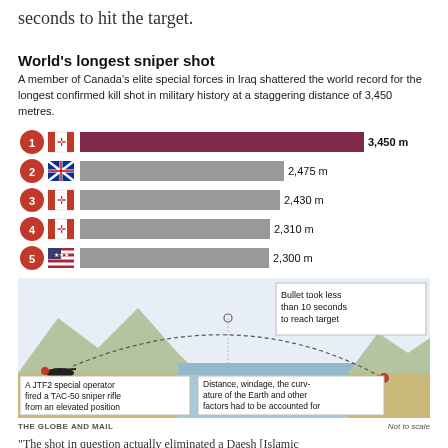seconds to hit the target.
World's longest sniper shot
A member of Canada's elite special forces in Iraq shattered the world record for the longest confirmed kill shot in military history at a staggering distance of 3,450 metres.
[Figure (bar-chart): World's longest sniper shot]
[Figure (infographic): Diagram showing a JTF2 special operator firing a TAC-50 sniper rifle from an elevated position, with a dotted arc trajectory over terrain, and annotations: 'Bullet took less than 10 seconds to reach target', 'Distance, windage, the curvature of the Earth and other factors had to be accounted for']
THE GLOBE AND MAIL   Not to scale
"The shot in question actually eliminated a Daesh [Islamic...